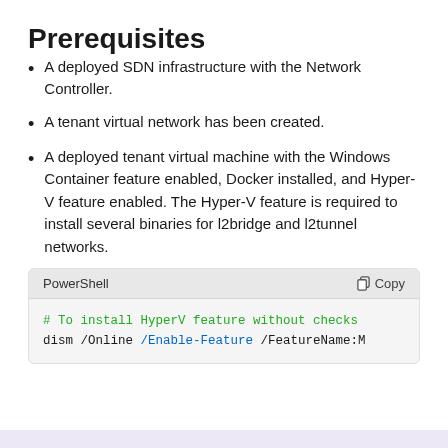Prerequisites
A deployed SDN infrastructure with the Network Controller.
A tenant virtual network has been created.
A deployed tenant virtual machine with the Windows Container feature enabled, Docker installed, and Hyper-V feature enabled. The Hyper-V feature is required to install several binaries for l2bridge and l2tunnel networks.
[Figure (screenshot): PowerShell code block with header showing 'PowerShell' and 'Copy' button. Code shows: '# To install HyperV feature without checks' and 'dism /Online /Enable-Feature /FeatureName:M']